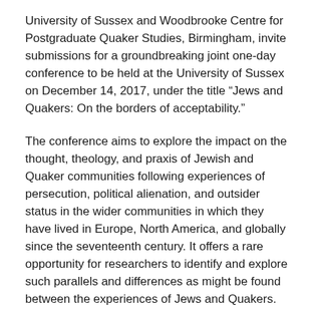University of Sussex and Woodbrooke Centre for Postgraduate Quaker Studies, Birmingham, invite submissions for a groundbreaking joint one-day conference to be held at the University of Sussex on December 14, 2017, under the title “Jews and Quakers: On the borders of acceptability.”
The conference aims to explore the impact on the thought, theology, and praxis of Jewish and Quaker communities following experiences of persecution, political alienation, and outsider status in the wider communities in which they have lived in Europe, North America, and globally since the seventeenth century. It offers a rare opportunity for researchers to identify and explore such parallels and differences as might be found between the experiences of Jews and Quakers.